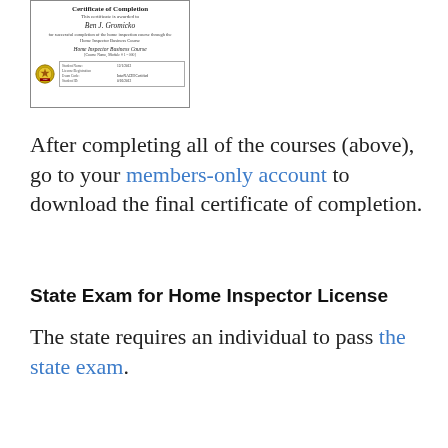[Figure (illustration): Certificate of Completion document image awarded to Ben J. Gromicko for completing Home Inspector Business Course]
After completing all of the courses (above), go to your members-only account to download the final certificate of completion.
State Exam for Home Inspector License
The state requires an individual to pass the state exam.